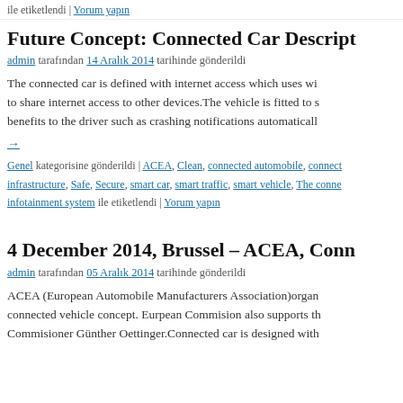ile etiketlendi | Yorum yapın
Future Concept: Connected Car Descript…
admin tarafından 14 Aralık 2014 tarihinde gönderildi
The connected car is defined with internet access which uses wi… to share internet access to other devices.The vehicle is fitted to s… benefits to the driver such as crashing notifications automaticall…
→
Genel kategorisine gönderildi | ACEA, Clean, connected automobile, connect… infrastructure, Safe, Secure, smart car, smart traffic, smart vehicle, The conne… infotainment system ile etiketlendi | Yorum yapın
4 December 2014, Brussel – ACEA, Conn…
admin tarafından 05 Aralık 2014 tarihinde gönderildi
ACEA (European Automobile Manufacturers Association)organ… connected vehicle concept. Eurpean Commision also supports th… Commisioner Günther Oettinger.Connected car is designed with…